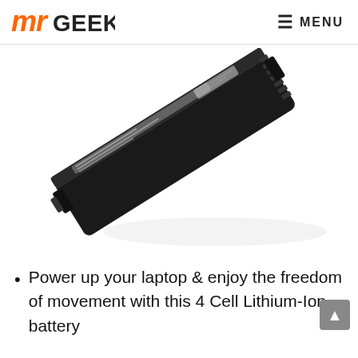MRGeek  ≡ MENU
[Figure (photo): A black 4-cell laptop battery (HP compatible) shown at a diagonal angle on a white background.]
Power up your laptop & enjoy the freedom of movement with this 4 Cell Lithium-Ion battery